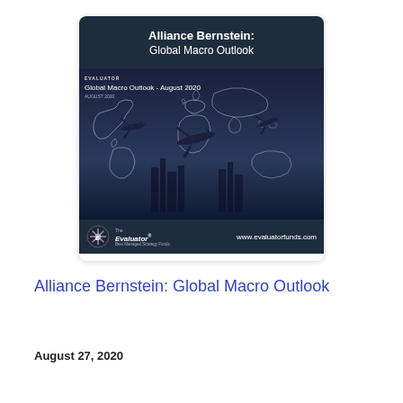[Figure (illustration): Thumbnail image of Alliance Bernstein Global Macro Outlook report cover. Dark navy header with bold white title 'Alliance Bernstein: Global Macro Outlook', below is an image showing airplanes and a world map outline on a dark blue/purple background with text 'Global Macro Outlook - August 2020', and a footer bar with The Evaluator logo and www.evaluatorfunds.com.]
Alliance Bernstein: Global Macro Outlook
August 27, 2020